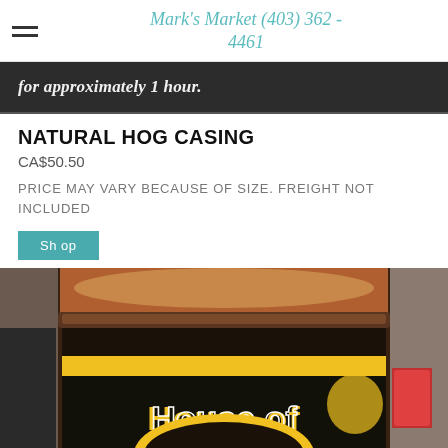Mark's Market (403) 362 - 4461
[Figure (photo): Partial photo of a sign with italic text reading 'for approximately 1 hour.' on a dark background]
NATURAL HOG CASING
CA$50.50
PRICE MAY VARY BECAUSE OF SIZE. FREIGHT NOT INCLUDED
Shop
[Figure (photo): Close-up photo of a round container labeled 'House of' with a brown powdery substance on top, yellow and black label design]